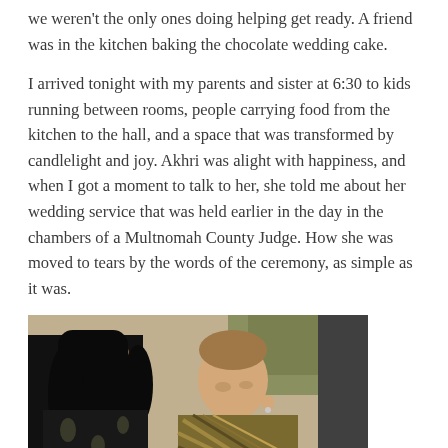we weren't the only ones doing helping get ready. A friend was in the kitchen baking the chocolate wedding cake.
I arrived tonight with my parents and sister at 6:30 to kids running between rooms, people carrying food from the kitchen to the hall, and a space that was transformed by candlelight and joy. Akhri was alight with happiness, and when I got a moment to talk to her, she told me about her wedding service that was held earlier in the day in the chambers of a Multnomah County Judge. How she was moved to tears by the words of the ceremony, as simple as it was.
[Figure (photo): A woman with long black curly hair wearing a dark floral top leans toward a man with short brown hair wearing a patterned olive/gold traditional garment. They appear to be looking at something together. Indoor setting with a plant visible in the background.]